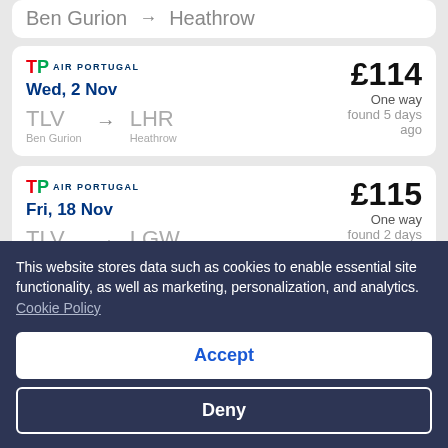Ben Gurion → Heathrow (partial top card)
TAP Air Portugal — Wed, 2 Nov — TLV Ben Gurion → LHR Heathrow — £114 One way found 5 days ago
TAP Air Portugal — Fri, 18 Nov — TLV Ben Gurion → LGW Gatwick — £115 One way found 2 days ago
This website stores data such as cookies to enable essential site functionality, as well as marketing, personalization, and analytics. Cookie Policy
Accept
Deny